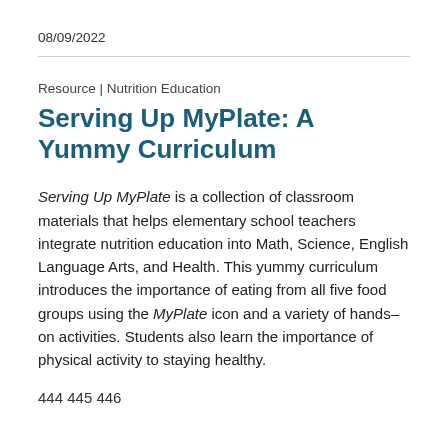08/09/2022
Resource | Nutrition Education
Serving Up MyPlate: A Yummy Curriculum
Serving Up MyPlate is a collection of classroom materials that helps elementary school teachers integrate nutrition education into Math, Science, English Language Arts, and Health. This yummy curriculum introduces the importance of eating from all five food groups using the MyPlate icon and a variety of hands–on activities. Students also learn the importance of physical activity to staying healthy.
444  445  446